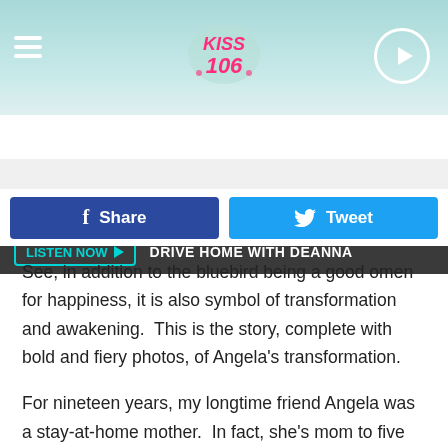[Figure (screenshot): KISS 106 radio station website header with logo, hamburger menu, and play button on teal/mint gradient background]
LISTEN NOW ▶  DRIVE HOME WITH DEANNA
[Figure (screenshot): Facebook Share button (dark blue) and Twitter Tweet button (light blue)]
See, in addition to the bluebird being a good omen for happiness, it is also symbol of transformation and awakening.  This is the story, complete with bold and fiery photos, of Angela's transformation.
For nineteen years, my longtime friend Angela was a stay-at-home mother.  In fact, she's mom to five girls, ranging in age from 24 to 14.  I mentioned the intersection Angela recently found herself standing in the middle of.  It's an intersection many people experience in their lifetimes.  It's that fork in the road that pulls you from where you've been and unexpectedly